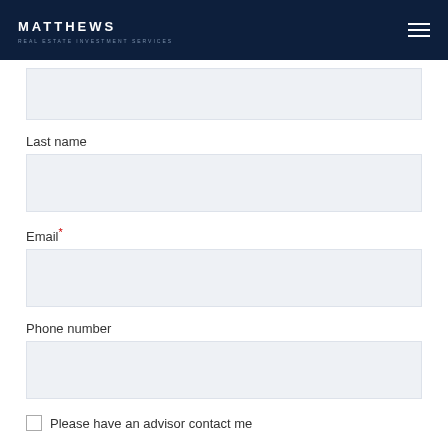MATTHEWS REAL ESTATE INVESTMENT SERVICES
Last name
Email*
Phone number
Please have an advisor contact me
By submitting this form I agree that Matthews Real Estate Investment Services™ may process my data in the manner described in Matthews™' Privacy Policy